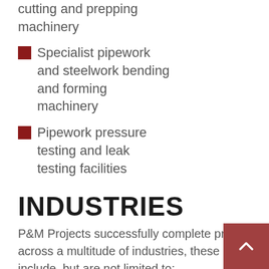cutting and prepping machinery
Specialist pipework and steelwork bending and forming machinery
Pipework pressure testing and leak testing facilities
INDUSTRIES
P&M Projects successfully complete projects across a multitude of industries, these include, but are not limited to:
Power Generation | Renewable | Energy | Oil &